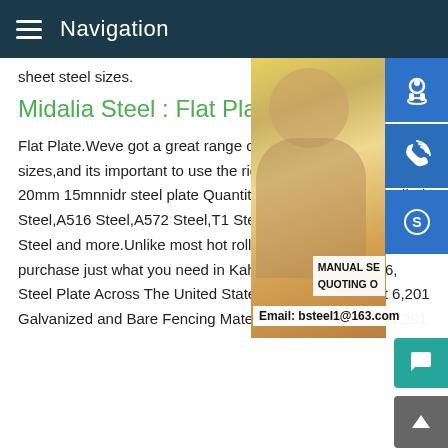Navigation
sheet steel sizes.
Midalia Steel : Flat Plate
Flat Plate.Weve got a great range of plate and sheet products come in a range of grades and sheet sizes,and its important to use the right job.Our range of Flat Steel Plate Sheet Depot hot sales 20mm 15mnnidr steel plate Quantity,Any Size A36 Hot Rolled Steel,1018 Steel,1020 Steel,1026 Steel,A516 Steel,A572 Steel,T1 Steel,Abrasive Resistance Steel,Armor Plate Steel,Galvanized Steel and more.Unlike most hot roll steel distributors and suppliers,here at Metals Depot you can purchase just what you need in Kahn Steel CoAugust 16, Steel Plate Across The United States Click Here.August 6,2016 Galvanized and Bare Fencing Material Click Here.July 31,2016
[Figure (photo): Customer service representative woman with headset smiling, with blue icon buttons for customer service, phone, and Skype on the right, and text overlays showing MANUAL SERVICE, QUOTING ON, Email: bsteel1@163.com]